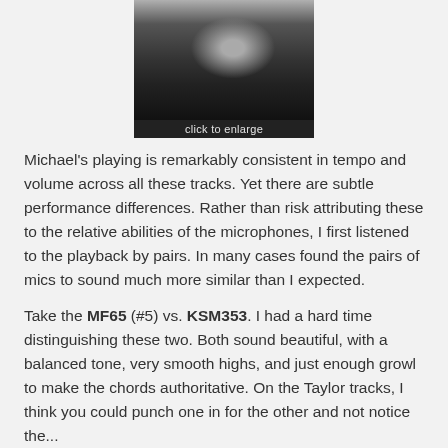[Figure (photo): Close-up photo of a microphone with a caption bar reading 'click to enlarge']
click to enlarge
Michael's playing is remarkably consistent in tempo and volume across all these tracks. Yet there are subtle performance differences. Rather than risk attributing these to the relative abilities of the microphones, I first listened to the playback by pairs. In many cases found the pairs of mics to sound much more similar than I expected.
Take the MF65 (#5) vs. KSM353. I had a hard time distinguishing these two. Both sound beautiful, with a balanced tone, very smooth highs, and just enough growl to make the chords authoritative. On the Taylor tracks, I think you could punch one in for the other and not notice the...